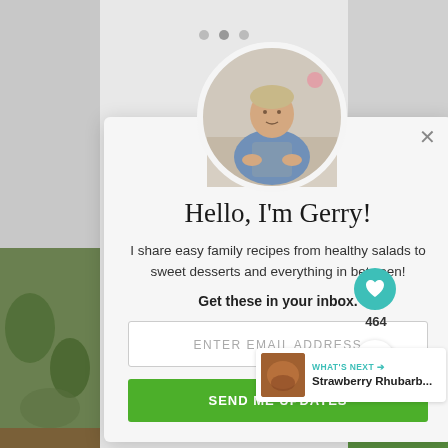[Figure (screenshot): Website popup modal with profile photo of a man in kitchen apron, newsletter signup form showing 'Hello, I'm Gerry!' heading, email input field, and send button. Social sharing buttons (heart: 464 likes, share icon) visible on right. 'What's Next' card showing Strawberry Rhubarb... text. Background shows food blog website with green vegetable images on sides.]